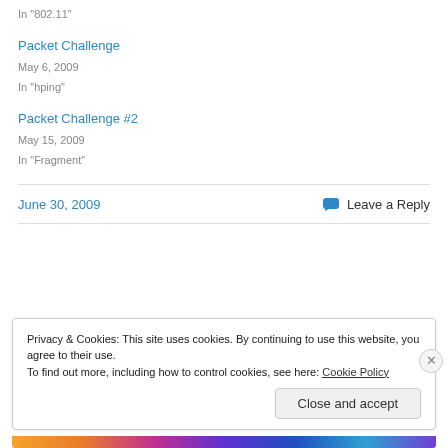In "802.11"
Packet Challenge
May 6, 2009
In "hping"
Packet Challenge #2
May 15, 2009
In "Fragment"
June 30, 2009
Leave a Reply
Privacy & Cookies: This site uses cookies. By continuing to use this website, you agree to their use.
To find out more, including how to control cookies, see here: Cookie Policy
Close and accept